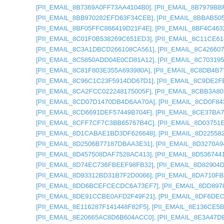[PII_EMAIL_8B7369A0FF73AA4104B0], [PII_EMAIL_8B7979BBFF15D4E59351], [PII_E…
[PII_EMAIL_8BB970282EFD63F34CEB], [PII_EMAIL_8BBAB5057C5C3D647BC0], [PII_…
[PII_EMAIL_8BF05FFC866419D21F4E], [PII_EMAIL_8BF4C4632D04B7C94B4D], [PII_E
[PII_EMAIL_8C01F0B538269C651ED3], [PII_EMAIL_8C11CE614F58025AF0A4], [PII_E…
[PII_EMAIL_8C3A1DBCD266108CA561], [PII_EMAIL_8C426607896256DFF9CE], [PII_E
[PII_EMAIL_8C5850ADD04E0CD81A12], [PII_EMAIL_8C70319573CC26B6F2C3], [PII_…
[PII_EMAIL_8C81F803E355A693980A], [PII_EMAIL_8C8DB4B778E6F5D795EF], [PII_E
[PII_EMAIL_8C96C1C23F5914DD67D1], [PII_EMAIL_8C9DE2FE214E6D4BE972], [PII_…
[PII_EMAIL_8CA2FCC022248175005F], [PII_EMAIL_8CBB3A80DD4511466E61], [PII_E
[PII_EMAIL_8CD07D1470DB4D6AA70A], [PII_EMAIL_8CD0F843FD453677F5DE], [PII_…
[PII_EMAIL_8CD6691DEF57449B704F], [PII_EMAIL_8CE37BA736B34CEF42C4], [PII_E
[PII_EMAIL_8CFF7CF7C3BB65767B4C], [PII_EMAIL_8D03751EC3056E64302A], [PII_E
[PII_EMAIL_8D1CABAE1BD3DF626648], [PII_EMAIL_8D2255825AD02B8D5663], [PII_…
[PII_EMAIL_8D2506B77187DBAA3E31], [PII_EMAIL_8D3270A948A8C46AD62D], [PII_…
[PII_EMAIL_8D457508DAF7528AC413], [PII_EMAIL_8D5367441D16525D9878], [PII_E
[PII_EMAIL_8D74EC736FBEEF98FB32], [PII_EMAIL_8D82904D73F9697BCE6D], [PII_E
[PII_EMAIL_8D93312BD31B7F2D0066], [PII_EMAIL_8DA710FB5C8B15DF5E51], [PII_E
[PII_EMAIL_8DD6BCEFCECDC6A73EF7], [PII_EMAIL_8DD8978242E47D6B0A60], [PII_…
[PII_EMAIL_8DE91CCBE0AFD2F49F21], [PII_EMAIL_8DF6DECAAFD8E9D8724F], [PII_…
[PII_EMAIL_8E116287F141448F82F5], [PII_EMAIL_8E136CE5BDB5DAF3D83C], [PII_E
[PII_EMAIL_8E20665AC8D6B604ACC0], [PII_EMAIL_8E3A47DEC060C518AC96]…